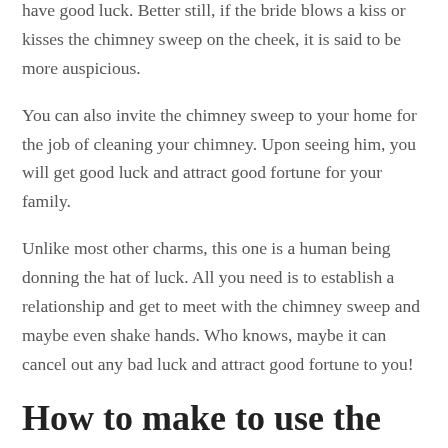have good luck. Better still, if the bride blows a kiss or kisses the chimney sweep on the cheek, it is said to be more auspicious.
You can also invite the chimney sweep to your home for the job of cleaning your chimney. Upon seeing him, you will get good luck and attract good fortune for your family.
Unlike most other charms, this one is a human being donning the hat of luck. All you need is to establish a relationship and get to meet with the chimney sweep and maybe even shake hands. Who knows, maybe it can cancel out any bad luck and attract good fortune to you!
How to make to use the lucky charm at home
If you need to attract fortune while at home, the prudent thing to do is to invite the chimney sweep to clean your chimney. But...